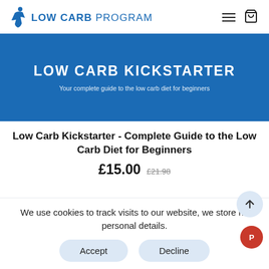LOW CARB PROGRAM
[Figure (screenshot): Blue banner with white bold text 'LOW CARB KICKSTARTER' and subtitle 'Your complete guide to the low carb diet for beginners']
Low Carb Kickstarter - Complete Guide to the Low Carb Diet for Beginners
£15.00  £21.98
We use cookies to track visits to our website, we store no personal details.
Accept   Decline